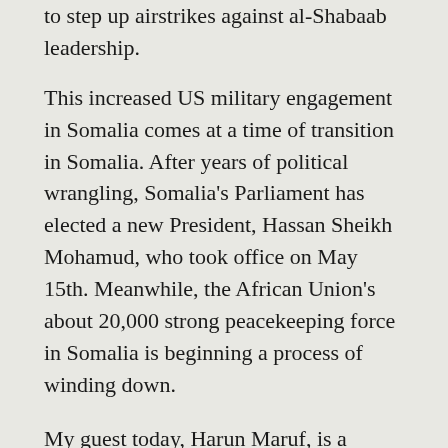to step up airstrikes against al-Shabaab leadership.
This increased US military engagement in Somalia comes at a time of transition in Somalia. After years of political wrangling, Somalia's Parliament has elected a new President, Hassan Sheikh Mohamud, who took office on May 15th. Meanwhile, the African Union's about 20,000 strong peacekeeping force in Somalia is beginning a process of winding down.
My guest today, Harun Maruf, is a veteran journalist and editor at VOA Somali Service. I kick off by asking him how news of increased US military involvement in Somalia is being received in Mogadishu and beyond. We then have an extended conversation about the security situation in Somalia today.
What is the role of American soldiers in Somalia?